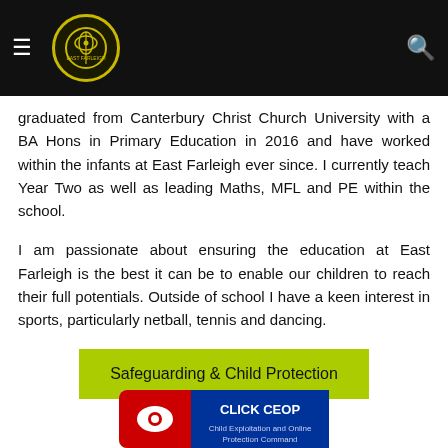[Navigation bar with hamburger menu, school logo, and search icon]
graduated from Canterbury Christ Church University with a BA Hons in Primary Education in 2016 and have worked within the infants at East Farleigh ever since. I currently teach Year Two as well as leading Maths, MFL and PE within the school.
I am passionate about ensuring the education at East Farleigh is the best it can be to enable our children to reach their full potentials. Outside of school I have a keen interest in sports, particularly netball, tennis and dancing.
Safeguarding & Child Protection
[Figure (logo): CLICK CEOP button/badge at bottom of page]